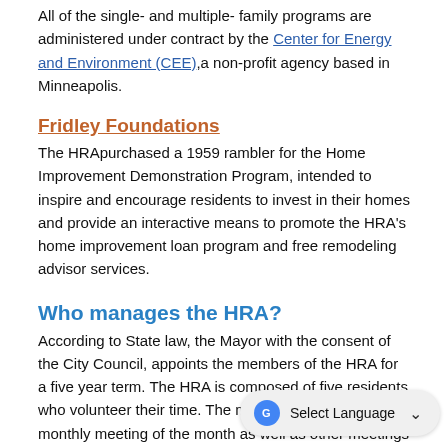All of the single- and multiple- family programs are administered under contract by the Center for Energy and Environment (CEE),a non-profit agency based in Minneapolis.
Fridley Foundations
The HRApurchased a 1959 rambler for the Home Improvement Demonstration Program, intended to inspire and encourage residents to invest in their homes and provide an interactive means to promote the HRA's home improvement loan program and free remodeling advisor services.
Who manages the HRA?
According to State law, the Mayor with the consent of the City Council, appoints the members of the HRA for a five year term. The HRA is composed of five residents who volunteer their time. The members attend a regular monthly meeting of the month as well as other meetings as needed.